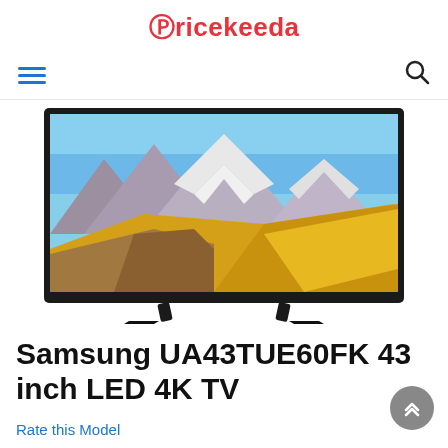Pricekeeda
[Figure (screenshot): Samsung UA43TUE60FK 43 inch LED 4K TV product image showing the TV with a mountain landscape on screen, displayed on two legs]
Samsung UA43TUE60FK 43 inch LED 4K TV
Rate this Model